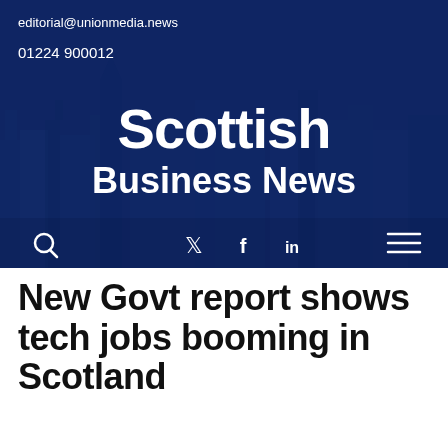editorial@unionmedia.news
01224 900012
Scottish Business News
[Figure (logo): Scottish Business News website header banner with blue city background, social media icons (Twitter, Facebook, LinkedIn), search icon, and hamburger menu icon]
New Govt report shows tech jobs booming in Scotland